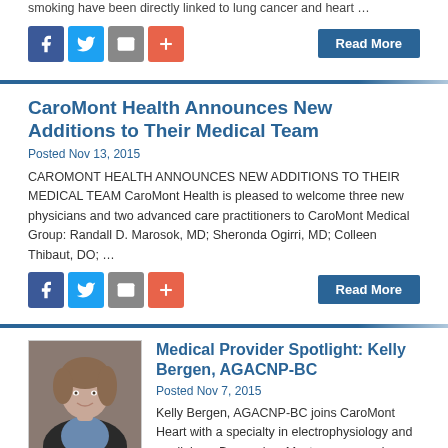smoking have been directly linked to lung cancer and heart …
[Figure (other): Social share icons: Facebook, Twitter, Email, Plus]
Read More
CaroMont Health Announces New Additions to Their Medical Team
Posted Nov 13, 2015
CAROMONT HEALTH ANNOUNCES NEW ADDITIONS TO THEIR MEDICAL TEAM CaroMont Health is pleased to welcome three new physicians and two advanced care practitioners to CaroMont Medical Group: Randall D. Marosok, MD; Sheronda Ogirri, MD; Colleen Thibaut, DO; …
[Figure (other): Social share icons: Facebook, Twitter, Email, Plus]
Read More
[Figure (photo): Professional headshot of Kelly Bergen, a woman with short brown hair wearing a dark blazer]
Medical Provider Spotlight: Kelly Bergen, AGACNP-BC
Posted Nov 7, 2015
Kelly Bergen, AGACNP-BC joins CaroMont Heart with a specialty in electrophysiology and cardiology. Bergen is a Masters-prepared nurse practitioner and is board-certified in Adult Gerontology Acute Care. She completed her training at